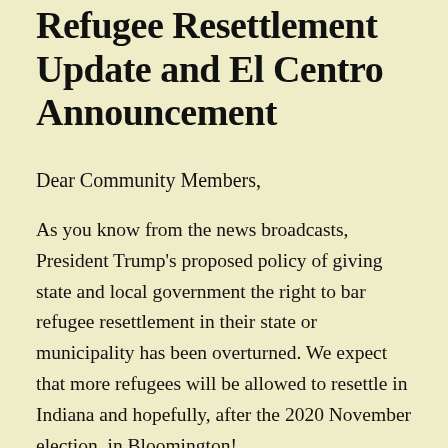Refugee Resettlement Update and El Centro Announcement
Dear Community Members,
As you know from the news broadcasts, President Trump's proposed policy of giving state and local government the right to bar refugee resettlement in their state or municipality has been overturned. We expect that more refugees will be allowed to resettle in Indiana and hopefully, after the 2020 November election, in Bloomington!
We have been able to help more and more